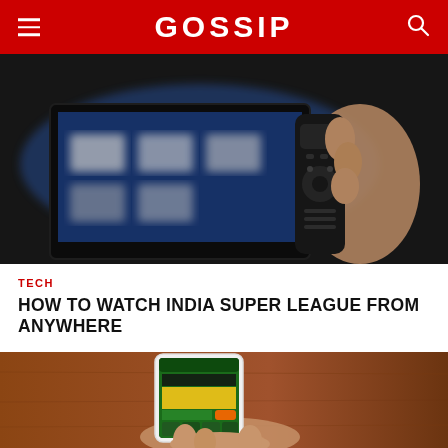GOSSIP
[Figure (photo): Hand holding a TV remote control pointed at a blurred smart TV screen showing streaming app icons]
TECH
HOW TO WATCH INDIA SUPER LEAGUE FROM ANYWHERE
[Figure (photo): Hand holding a smartphone displaying an online casino app with 1000€ bonus offer]